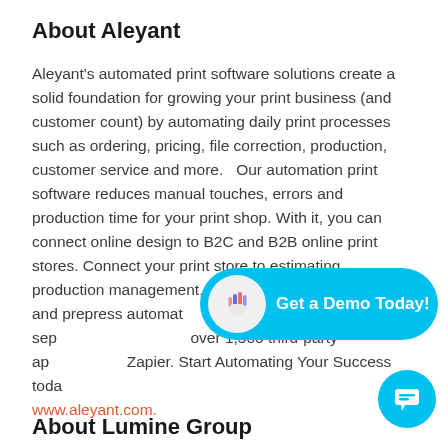About Aleyant
Aleyant's automated print software solutions create a solid foundation for growing your print business (and customer count) by automating daily print processes such as ordering, pricing, file correction, production, customer service and more.   Our automation print software reduces manual touches, errors and production time for your print shop. With it, you can connect online design to B2C and B2B online print stores. Connect your print store to estimating, production management, customer service and prepress automation. Use our software products separately or together with over 1,500 third-party apps through Zapier. Start Automating Your Success today! www.aleyant.com.
[Figure (other): Cyan rounded pill-shaped CTA button with waving hand icon and text 'Get a Demo Today!', overlaid on the body text]
About Lumine Group